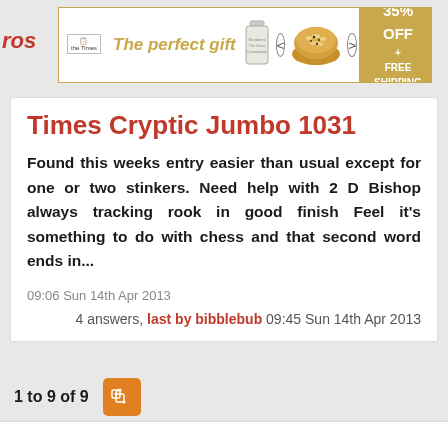[Figure (other): Advertisement banner: 'The perfect gift' with food bowl image, navigation arrows, and '35% OFF + FREE SHIPPING' offer box in gold/yellow]
Times Cryptic Jumbo 1031
Found this weeks entry easier than usual except for one or two stinkers. Need help with 2 D Bishop always tracking rook in good finish Feel it's something to do with chess and that second word ends in...
09:06 Sun 14th Apr 2013
4 answers, last by bibblebub 09:45 Sun 14th Apr 2013
1 to 9 of 9